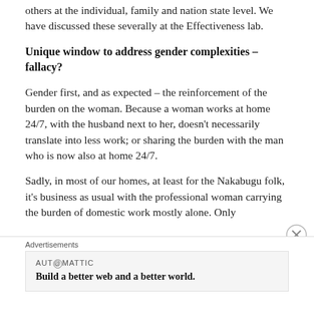others at the individual, family and nation state level. We have discussed these severally at the Effectiveness lab.
Unique window to address gender complexities – fallacy?
Gender first, and as expected – the reinforcement of the burden on the woman. Because a woman works at home 24/7, with the husband next to her, doesn't necessarily translate into less work; or sharing the burden with the man who is now also at home 24/7.
Sadly, in most of our homes, at least for the Nakabugu folk, it's business as usual with the professional woman carrying the burden of domestic work mostly alone. Only
Advertisements
AUT⊙MATTIC
Build a better web and a better world.